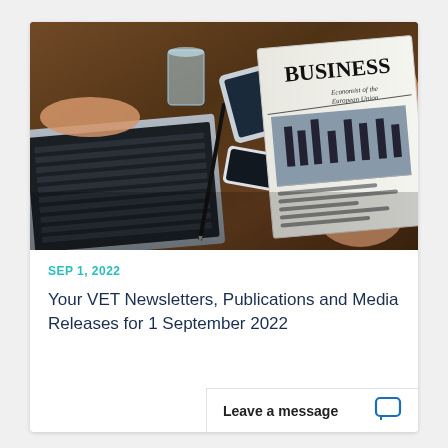[Figure (photo): Person reading a BUSINESS newspaper at a wooden desk with a laptop, smartphone, glass of water, tablet, and pen visible.]
SEP 1, 2022
Your VET Newsletters, Publications and Media Releases for 1 September 2022
Leave a message